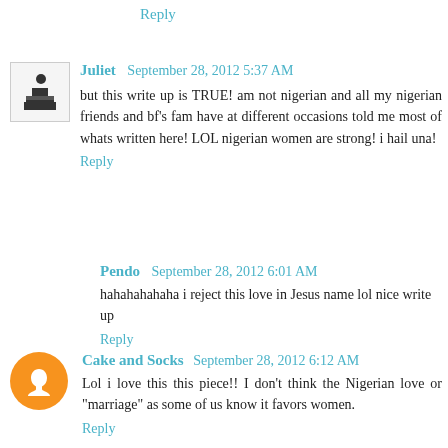Reply
Juliet  September 28, 2012 5:37 AM
but this write up is TRUE! am not nigerian and all my nigerian friends and bf's fam have at different occasions told me most of whats written here! LOL nigerian women are strong! i hail una!
Reply
Pendo  September 28, 2012 6:01 AM
hahahahahaha i reject this love in Jesus name lol nice write up
Reply
Cake and Socks  September 28, 2012 6:12 AM
Lol i love this this piece!!  I don't think the Nigerian love or "marriage" as some of us know it favors women.
Reply